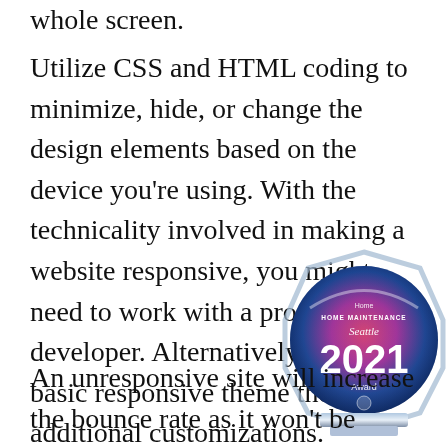whole screen.
Utilize CSS and HTML coding to minimize, hide, or change the design elements based on the device you're using. With the technicality involved in making a website responsive, you might need to work with a professional developer. Alternatively, you can basic responsive theme then ha additional customizations.
[Figure (photo): A crystal/glass award trophy with a blue, red and purple gradient design showing '2021 Award' with decorative octagonal frame on a reflective base. Text above reads 'Home HOME MAINTENANCE Seattle 2021 Award']
An unresponsive site will increase the bounce rate as it won't be appealing to